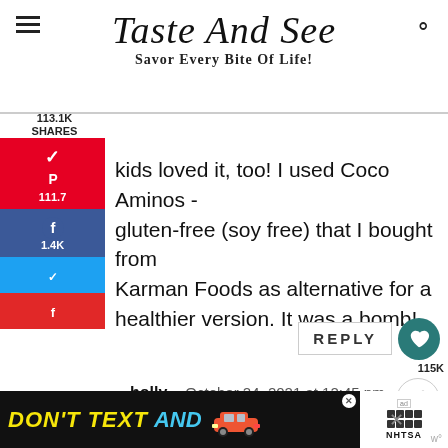Taste And See — Savor Every Bite Of Life!
kids loved it, too! I used Coco Aminos - gluten-free (soy free) that I bought from Karman Foods as alternative for a healthier version. It was a bomb!
113.1K SHARES
Pinterest 111.7
Facebook 1.4K
Twitter
Flipboard
REPLY
115K
WHAT'S NEXT → Thai Beef And Broccoli
holly   October 24, 2021 at 12:45 pm
[Figure (screenshot): DON'T TEXT AND [car graphic] ad banner with NHTSA logo]